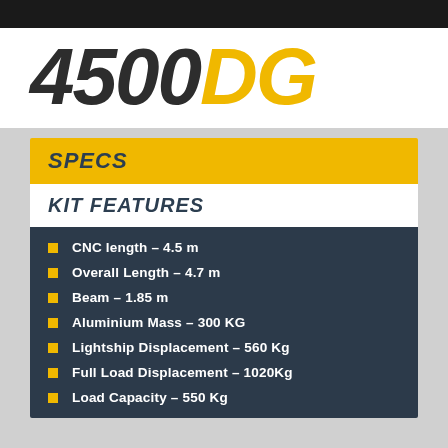4500DG
SPECS
KIT FEATURES
CNC length – 4.5 m
Overall Length – 4.7 m
Beam – 1.85 m
Aluminium Mass – 300 KG
Lightship Displacement – 560 Kg
Full Load Displacement –  1020Kg
Load Capacity – 550 Kg